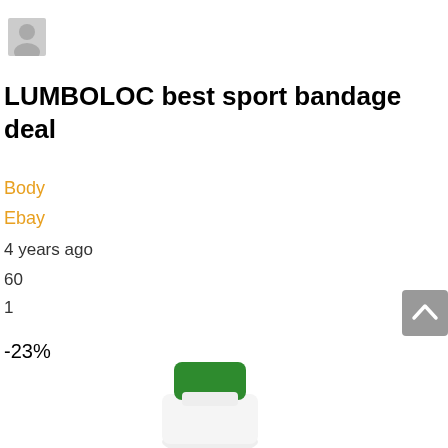[Figure (illustration): Gray avatar/user silhouette icon in top-left corner]
LUMBOLOC best sport bandage deal
Body
Ebay
4 years ago
60
1
-23%
[Figure (photo): Partial view of a white bottle with green cap]
[Figure (illustration): Gray scroll-to-top button with chevron/caret icon on right side]